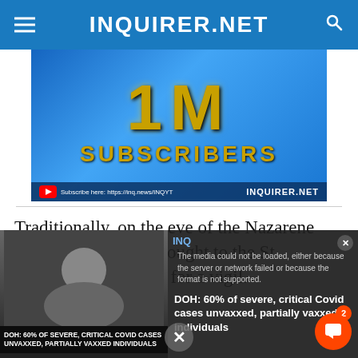INQUIRER.NET
[Figure (illustration): Inquirer.net YouTube 1M subscribers promotional banner with gold letters 'M', 'SUBSCRIBERS' text, YouTube subscribe button, URL https://inq.news/INQYT]
Traditionally, on the eve of the Nazarene feast, the image is brought to the St. Augustine Cathedral for a vigil.
[Figure (screenshot): Overlay video player showing DOH 60% of severe, critical Covid cases unvaxxed, partially vaxxed individuals. Media error message: The media could not be loaded, either because the server or network failed or because the format is not supported. Chat notification button with badge showing 2. X close button at bottom.]